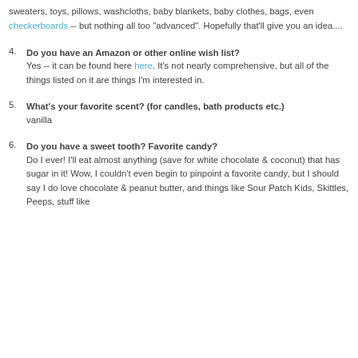sweaters, toys, pillows, washcloths, baby blankets, baby clothes, bags, even checkerboards -- but nothing all too "advanced". Hopefully that'll give you an idea....
4. Do you have an Amazon or other online wish list?
Yes -- it can be found here here. It's not nearly comprehensive, but all of the things listed on it are things I'm interested in.
5. What's your favorite scent? (for candles, bath products etc.)
vanilla
6. Do you have a sweet tooth? Favorite candy?
Do I ever! I'll eat almost anything (save for white chocolate & coconut) that has sugar in it! Wow, I couldn't even begin to pinpoint a favorite candy, but I should say I do love chocolate & peanut butter, and things like Sour Patch Kids, Skittles, Peeps, stuff like